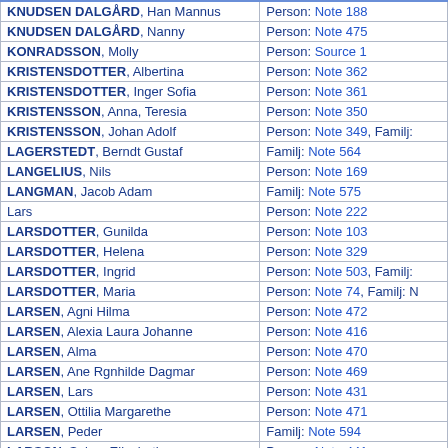| Name | Reference |
| --- | --- |
| KNUDSEN DALGÅRD, Han Mannus | Person: Note 188 |
| KNUDSEN DALGÅRD, Nanny | Person: Note 475 |
| KONRADSSON, Molly | Person: Source 1 |
| KRISTENSDOTTER, Albertina | Person: Note 362 |
| KRISTENSDOTTER, Inger Sofia | Person: Note 361 |
| KRISTENSSON, Anna, Teresia | Person: Note 350 |
| KRISTENSSON, Johan Adolf | Person: Note 349, Familj: |
| LAGERSTEDT, Berndt Gustaf | Familj: Note 564 |
| LANGELIUS, Nils | Person: Note 169 |
| LANGMAN, Jacob Adam | Familj: Note 575 |
| Lars | Person: Note 222 |
| LARSDOTTER, Gunilda | Person: Note 103 |
| LARSDOTTER, Helena | Person: Note 329 |
| LARSDOTTER, Ingrid | Person: Note 503, Familj: |
| LARSDOTTER, Maria | Person: Note 74, Familj: N |
| LARSEN, Agni Hilma | Person: Note 472 |
| LARSEN, Alexia Laura Johanne | Person: Note 416 |
| LARSEN, Alma | Person: Note 470 |
| LARSEN, Ane Rgnhilde Dagmar | Person: Note 469 |
| LARSEN, Lars | Person: Note 431 |
| LARSEN, Ottilia Margarethe | Person: Note 471 |
| LARSEN, Peder | Familj: Note 594 |
| LARSON, Selma Elizabeth | Person: Note 441 |
| LARSSON, Alfrida Natalia | Person: Note 467 |
| LARSSON, Anni Axelia | Person: Note 466 |
| LARSSON, Fredrik | Person: Note 124 |
| LARSSON, Holger | Person: Note 488 |